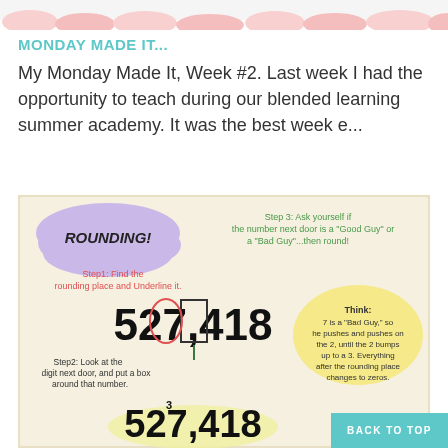[Figure (illustration): Decorative torn paper banner at the top of the page with pink and teal/mint cloud shapes along the bottom edge]
MONDAY MADE IT...
My Monday Made It, Week #2. Last week I had the opportunity to teach during our blended learning summer academy. It was the best week e...
[Figure (photo): A hand-drawn anchor chart about rounding numbers showing steps with the example number 527,418. Step 1: Find the rounding place and Underline it. Step 2: Look at the digit next door, and put a box around that number. Step 3: Ask yourself if the number next door is a 'Good Guy' or a 'Bad Guy'...then round! Think: 7 is a 'Bad Guy' so he pushes and pushes on the 2, until the 2 bumps up to a 3. Everything after the rounding place changes to zeros.]
BACK TO TOP